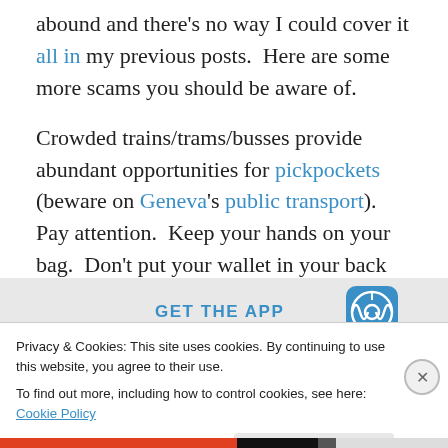abound and there's no way I could cover it all in my previous posts.  Here are some more scams you should be aware of.
Crowded trains/trams/busses provide abundant opportunities for pickpockets (beware on Geneva's public transport).  Pay attention.  Keep your hands on your bag.  Don't put your wallet in your back pocket.  Pay attention to other passengers bumping and knocking into you.
[Figure (other): App banner with WordPress icon and text GET THE APP]
Privacy & Cookies: This site uses cookies. By continuing to use this website, you agree to their use.
To find out more, including how to control cookies, see here: Cookie Policy